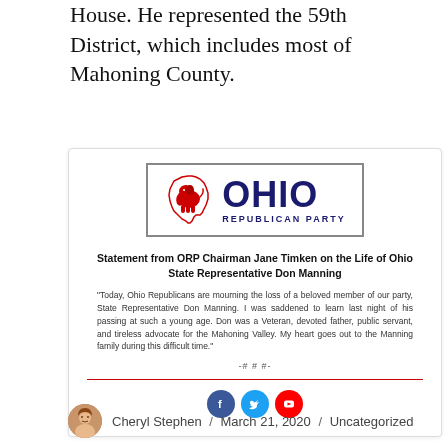House. He represented the 59th District, which includes most of Mahoning County.
[Figure (other): Ohio Republican Party press release card with logo, statement headline, quote text, separator, and social media icons. Statement from ORP Chairman Jane Timken on the Life of Ohio State Representative Don Manning. Quote: 'Today, Ohio Republicans are mourning the loss of a beloved member of our party, State Representative Don Manning. I was saddened to learn last night of his passing at such a young age. Don was a Veteran, devoted father, public servant, and tireless advocate for the Mahoning Valley. My heart goes out to the Manning family during this difficult time.' -###-]
Cheryl Stephen / March 21, 2020 / Uncategorized